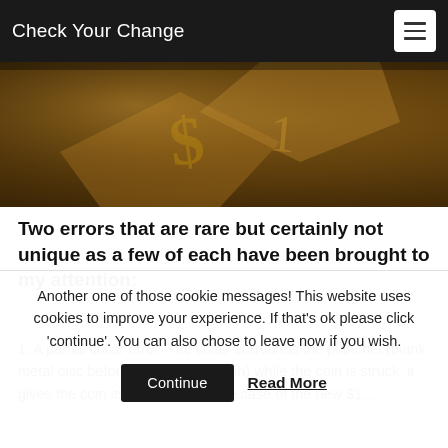Check Your Change
[Figure (photo): Close-up photo of a coin surface showing metallic texture with embossed markings, dark brown/golden tones.]
Two errors that are rare but certainly not unique as a few of each have been brought to my attention:
1. A partial collar error: The collar surrounds the planchet (blank metal disc before it becomes a coin) while the coin is struck, it gives the coin its shape and in the case of the new $1...
Another one of those cookie messages! This website uses cookies to improve your experience. If that's ok please click 'continue'. You can also chose to leave now if you wish.